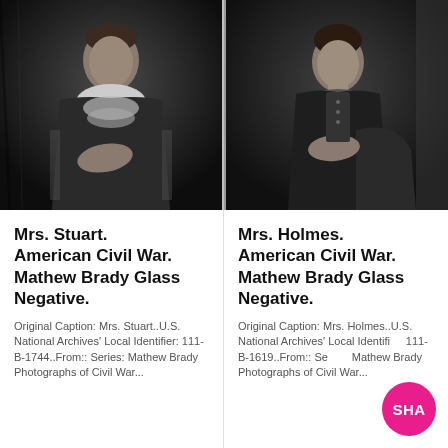[Figure (photo): Black and white portrait photograph of Mrs. Stuart, a woman in 19th-century dress with ruffled collar, seated, Mathew Brady Glass Negative, American Civil War era.]
[Figure (photo): Black and white portrait photograph of Mrs. Holmes, a woman in 19th-century dress, seated, Mathew Brady Glass Negative, American Civil War era.]
Mrs. Stuart. American Civil War. Mathew Brady Glass Negative.
Original Caption: Mrs. Stuart..U.S. National Archives' Local Identifier: 111-B-1744..From:: Series: Mathew Brady Photographs of Civil War...
Mrs. Holmes. American Civil War. Mathew Brady Glass Negative.
Original Caption: Mrs. Holmes..U.S. National Archives' Local Identifier: 111-B-1619..From:: Series: Mathew Brady Photographs of Civil War...